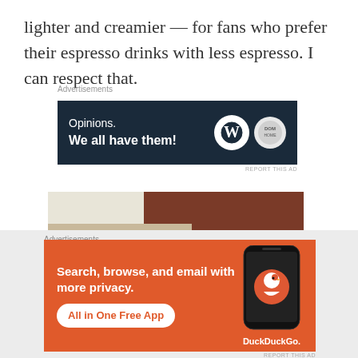lighter and creamier — for fans who prefer their espresso drinks with less espresso. I can respect that.
Advertisements
[Figure (screenshot): WordPress.com advertisement banner with dark navy background. Text reads 'Opinions. We all have them!' with WordPress W logo and DOM logo circles on right side.]
[Figure (photo): Close-up photo of an espresso drink in a cup, showing creamy latte art with dark espresso and foam, on a wooden surface background.]
Advertisements
[Figure (screenshot): DuckDuckGo advertisement on orange background. Text reads 'Search, browse, and email with more privacy. All in One Free App' with phone mockup showing DuckDuckGo logo.]